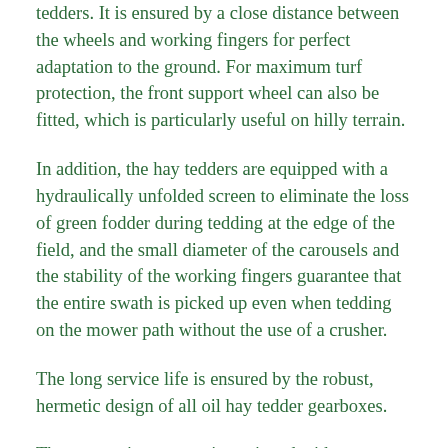tedders. It is ensured by a close distance between the wheels and working fingers for perfect adaptation to the ground. For maximum turf protection, the front support wheel can also be fitted, which is particularly useful on hilly terrain.
In addition, the hay tedders are equipped with a hydraulically unfolded screen to eliminate the loss of green fodder during tedding at the edge of the field, and the small diameter of the carousels and the stability of the working fingers guarantee that the entire swath is picked up even when tedding on the mower path without the use of a crusher.
The long service life is ensured by the robust, hermetic design of all oil hay tedder gearboxes.
The suspension system is equipped with a mechanism that prevents the machine in a rented...